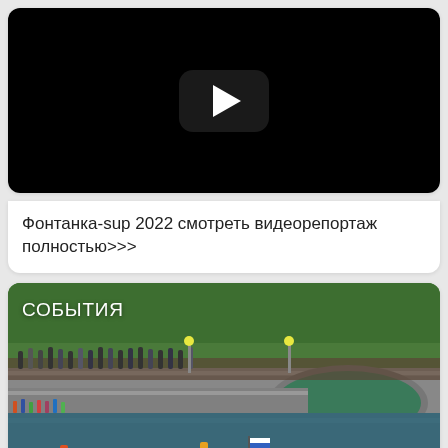[Figure (screenshot): Video player thumbnail with black background and white play button]
Фонтанка-sup 2022 смотреть видеорепортаж полностью>>>
[Figure (photo): Outdoor event photo showing people on stand-up paddleboards on a river canal, with a bridge and large crowd watching. Label 'СОБЫТИЯ' visible in top left.]